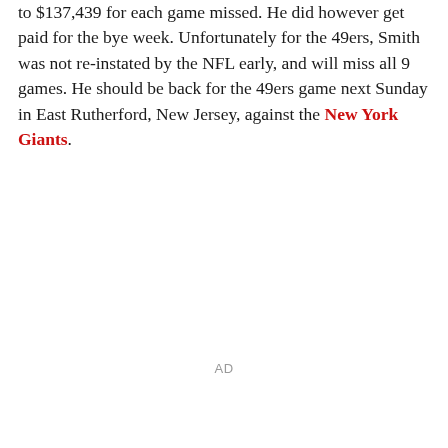to $137,439 for each game missed. He did however get paid for the bye week. Unfortunately for the 49ers, Smith was not re-instated by the NFL early, and will miss all 9 games. He should be back for the 49ers game next Sunday in East Rutherford, New Jersey, against the New York Giants.
AD